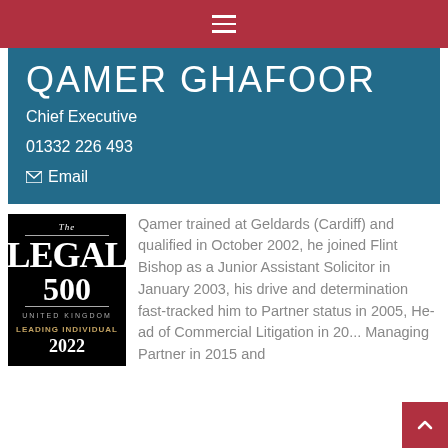Navigation bar with hamburger menu
QAMER GHAFOOR
Chief Executive
01332 226 493
✉ Email
[Figure (logo): The Legal 500 United Kingdom Leading Individual 2022 badge, black background with white serif text]
Qamer trained at Geldards (Cardiff) and qualified in October 2002, he joined Flint Bishop as a Junior Assistant Solicitor in January 2003, his drive and determination fast-tracked him to Partner status in 2005, Head of Commercial Litigation in 20... Managing Partner in 2015 and